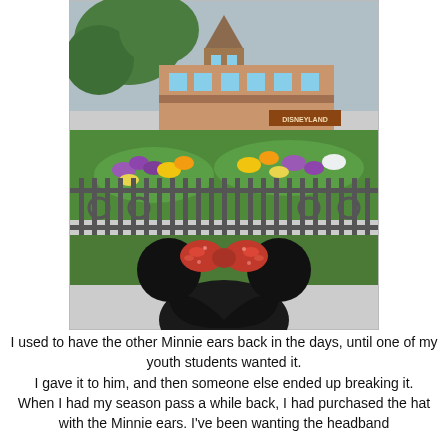[Figure (photo): A photo taken from behind a person wearing black Minnie Mouse ears with a red sequined bow, standing at a decorative iron fence in front of Disneyland, with colorful flower beds and the Disneyland train station building visible in the background.]
I used to have the other Minnie ears back in the days, until one of my youth students wanted it. I gave it to him, and then someone else ended up breaking it. When I had my season pass a while back, I had purchased the hat with the Minnie ears. I've been wanting the headband version and I bought it to use and to coordinate... OOTD